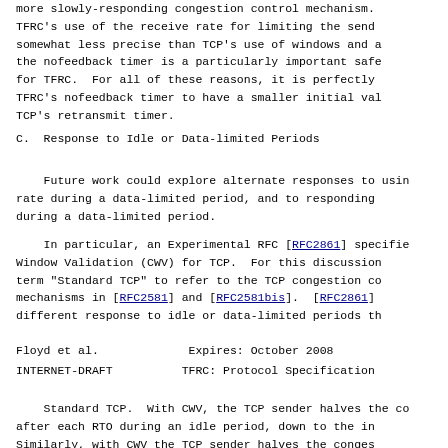more slowly-responding congestion control mechanism. TFRC's use of the receive rate for limiting the send rate is somewhat less precise than TCP's use of windows and acknowledgments; the nofeedback timer is a particularly important safety mechanism for TFRC. For all of these reasons, it is perfectly reasonable for TFRC's nofeedback timer to have a smaller initial value than TCP's retransmit timer.
C.  Response to Idle or Data-limited Periods
Future work could explore alternate responses to using the sending rate during a data-limited period, and to responding to losses during a data-limited period.
In particular, an Experimental RFC [RFC2861] specifies Congestion Window Validation (CWV) for TCP.  For this discussion, we use the term "Standard TCP" to refer to the TCP congestion control mechanisms in [RFC2581] and [RFC2581bis].  [RFC2861] specifies a different response to idle or data-limited periods than Standard TCP.
Floyd et al.              Expires: October 2008
INTERNET-DRAFT          TFRC: Protocol Specification
Standard TCP.  With CWV, the TCP sender halves the congestion window after each RTO during an idle period, down to the initial window. Similarly, with CWV the TCP sender halves the congestion window